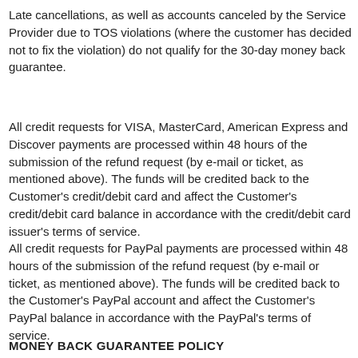Late cancellations, as well as accounts canceled by the Service Provider due to TOS violations (where the customer has decided not to fix the violation) do not qualify for the 30-day money back guarantee.
All credit requests for VISA, MasterCard, American Express and Discover payments are processed within 48 hours of the submission of the refund request (by e-mail or ticket, as mentioned above). The funds will be credited back to the Customer's credit/debit card and affect the Customer's credit/debit card balance in accordance with the credit/debit card issuer's terms of service.
All credit requests for PayPal payments are processed within 48 hours of the submission of the refund request (by e-mail or ticket, as mentioned above). The funds will be credited back to the Customer's PayPal account and affect the Customer's PayPal balance in accordance with the PayPal's terms of service.
MONEY BACK GUARANTEE POLICY